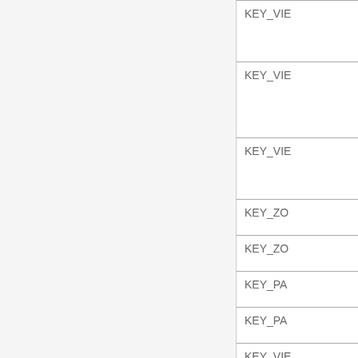| KEY_VIE |
| KEY_VIE |
| KEY_VIE |
| KEY_ZO |
| KEY_ZO |
| KEY_PA |
| KEY_PA |
| KEY_VIE |